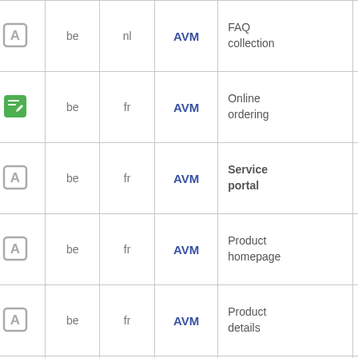|  | lang | locale | system | description | links |
| --- | --- | --- | --- | --- | --- |
| [icon] | be | nl | AVM | FAQ collection | … |
| [icon-edit] | be | fr | AVM | Online ordering | … |
| [icon] | be | fr | AVM | Service portal | … |
| [icon] | be | fr | AVM | Product homepage | … |
| [icon] | be | fr | AVM | Product details | … |
| [icon] | be | fr | AVM | Technical | … |